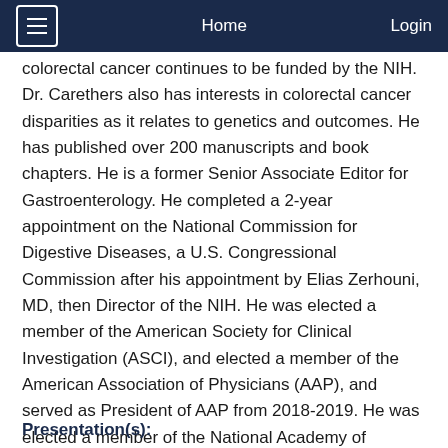Home | Login
colorectal cancer continues to be funded by the NIH. Dr. Carethers also has interests in colorectal cancer disparities as it relates to genetics and outcomes. He has published over 200 manuscripts and book chapters. He is a former Senior Associate Editor for Gastroenterology. He completed a 2-year appointment on the National Commission for Digestive Diseases, a U.S. Congressional Commission after his appointment by Elias Zerhouni, MD, then Director of the NIH. He was elected a member of the American Society for Clinical Investigation (ASCI), and elected a member of the American Association of Physicians (AAP), and served as President of AAP from 2018-2019. He was elected a member of the National Academy of Medicine (formerly the Institute of Medicine) in 2012, and elected fellow of the American Association for the Advancement of Science in 2015.
Presentation(s):